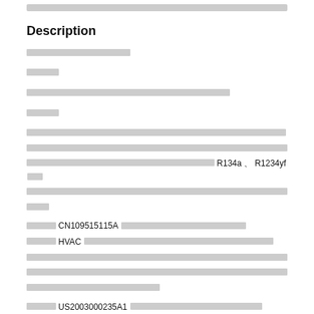[redacted header bar]
Description
[redacted text line]
[redacted text line]
[redacted text line]
[redacted text line]
[redacted paragraph containing GWP(...) R134a R1234yf references]
[redacted paragraph containing CN109515115A and HVAC references]
[redacted text beginning with US2003000235A1]